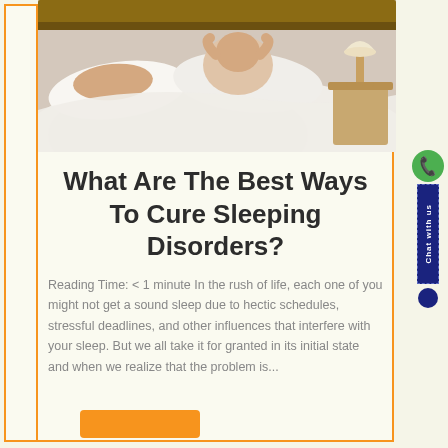[Figure (photo): A couple in bed — man sleeping while woman covers her ears with a pillow, with a lamp on the nightstand in the background]
What Are The Best Ways To Cure Sleeping Disorders?
Reading Time: < 1 minute In the rush of life, each one of you might not get a sound sleep due to hectic schedules, stressful deadlines, and other influences that interfere with your sleep. But we all take it for granted in its initial state and when we realize that the problem is...